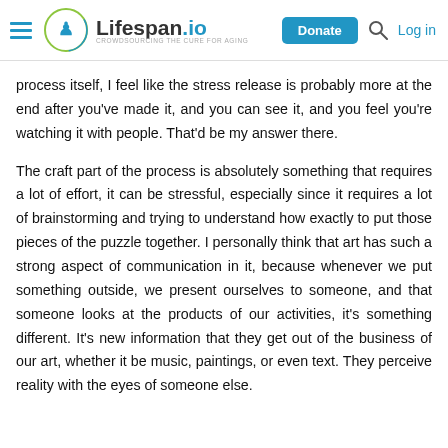Lifespan.io — Donate | Log in
process itself, I feel like the stress release is probably more at the end after you've made it, and you can see it, and you feel you're watching it with people. That'd be my answer there.
The craft part of the process is absolutely something that requires a lot of effort, it can be stressful, especially since it requires a lot of brainstorming and trying to understand how exactly to put those pieces of the puzzle together. I personally think that art has such a strong aspect of communication in it, because whenever we put something outside, we present ourselves to someone, and that someone looks at the products of our activities, it's something different. It's new information that they get out of the business of our art, whether it be music, paintings, or even text. They perceive reality with the eyes of someone else.